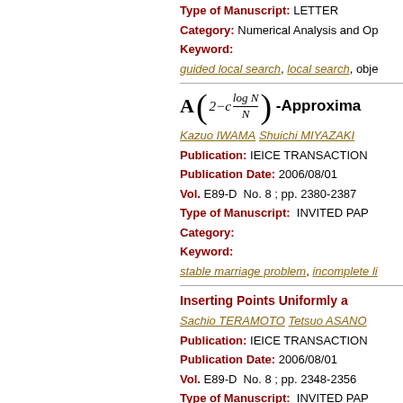Type of Manuscript: LETTER
Category: Numerical Analysis and Op
Keyword:
guided local search, local search, obje
Kazuo IWAMA  Shuichi MIYAZAKI
Publication:  IEICE TRANSACTION
Publication Date: 2006/08/01
Vol. E89-D  No. 8 ; pp. 2380-2387
Type of Manuscript:  INVITED PAP
Category:
Keyword:
stable marriage problem, incomplete li
Inserting Points Uniformly a
Sachio TERAMOTO  Tetsuo ASANO
Publication:  IEICE TRANSACTION
Publication Date: 2006/08/01
Vol. E89-D  No. 8 ; pp. 2348-2356
Type of Manuscript:  INVITED PAP